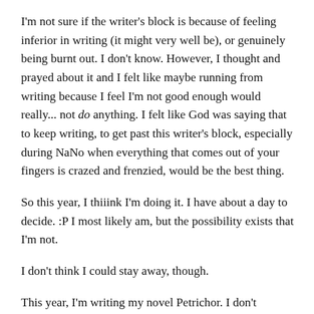I'm not sure if the writer's block is because of feeling inferior in writing (it might very well be), or genuinely being burnt out. I don't know. However, I thought and prayed about it and I felt like maybe running from writing because I feel I'm not good enough would really... not do anything. I felt like God was saying that to keep writing, to get past this writer's block, especially during NaNo when everything that comes out of your fingers is crazed and frenzied, would be the best thing.
So this year, I thiiink I'm doing it. I have about a day to decide. :P I most likely am, but the possibility exists that I'm not.
I don't think I could stay away, though.
This year, I'm writing my novel Petrichor. I don't remember exactly when I came up with this novel--two